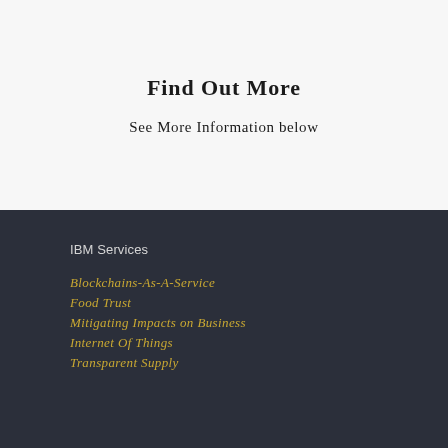Find Out More
See More Information below
IBM Services
Blockchains-As-A-Service
Food Trust
Mitigating Impacts on Business
Internet Of Things
Transparent Supply